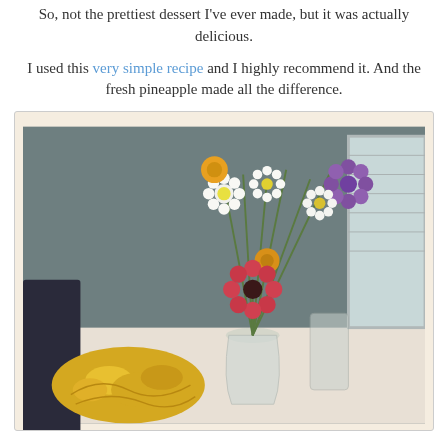So, not the prettiest dessert I've ever made, but it was actually delicious.
I used this very simple recipe and I highly recommend it. And the fresh pineapple made all the difference.
[Figure (photo): A photograph of a floral arrangement in a glass vase on a white table, featuring white daisies, yellow marigolds, a pink/red gerbera daisy, and a purple chrysanthemum. In the foreground is a plate of cut fresh pineapple. A dark chair is visible on the left and a window with blinds on the right.]